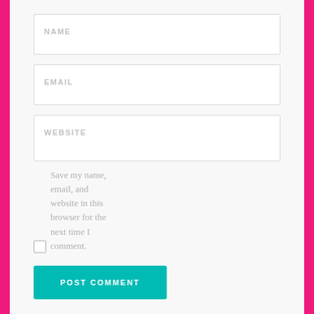NAME
EMAIL
WEBSITE
Save my name, email, and website in this browser for the next time I comment.
POST COMMENT